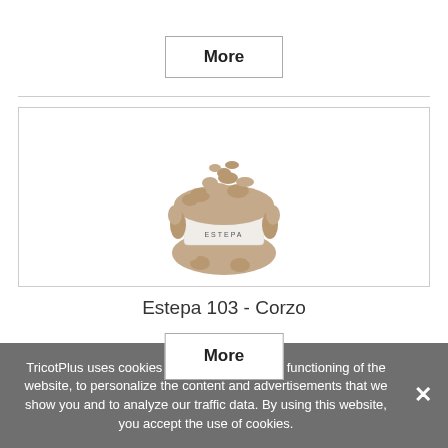More
[Figure (photo): A ball/skein of fluffy textured yarn with a Katia Estepa label band around the middle. The yarn is a warm beige/taupe color with a shaggy, furry texture.]
Estepa 103 - Corzo
TricotPlus uses cookies to ensure the proper functioning of the website, to personalize the content and advertisements that we show you and to analyze our traffic data. By using this website, you accept the use of cookies.
More